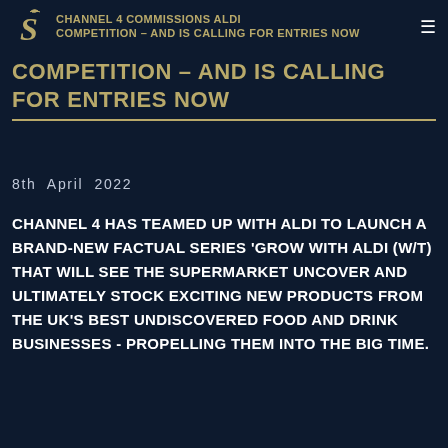CHANNEL 4 COMMISSIONS ALDI COMPETITION – AND IS CALLING FOR ENTRIES NOW
COMPETITION – AND IS CALLING FOR ENTRIES NOW
8th April 2022
CHANNEL 4 HAS TEAMED UP WITH ALDI TO LAUNCH A BRAND-NEW FACTUAL SERIES 'GROW WITH ALDI (W/T) THAT WILL SEE THE SUPERMARKET UNCOVER AND ULTIMATELY STOCK EXCITING NEW PRODUCTS FROM THE UK'S BEST UNDISCOVERED FOOD AND DRINK BUSINESSES - PROPELLING THEM INTO THE BIG TIME.